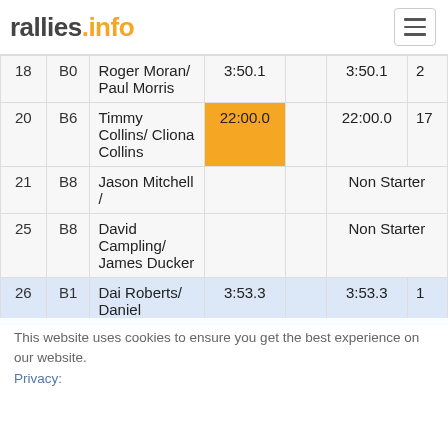rallies.info
| # | Cat | Name | SS1 |  | Total | Pos |
| --- | --- | --- | --- | --- | --- | --- |
| 18 | B0 | Roger Moran/ Paul Morris | 3:50.1 |  | 3:50.1 | 2 |
| 20 | B6 | Timmy Collins/ Cliona Collins | 22:00.0 |  | 22:00.0 | 17 |
| 21 | B8 | Jason Mitchell / |  |  | Non Starter |  |
| 25 | B8 | David Campling/ James Ducker |  |  | Non Starter |  |
| 26 | B1 | Dai Roberts/ Daniel | 3:53.3 |  | 3:53.3 | 1 |
This website uses cookies to ensure you get the best experience on our website. Privacy: